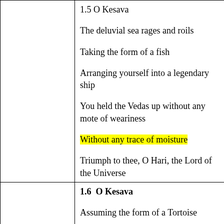1.5 O Kesava
The deluvial sea rages and roils
Taking the form of a fish
Arranging yourself into a legendary ship
You held the Vedas up without any mote of weariness
Without any trace of moisture
Triumph to thee, O Hari, the Lord of the Universe
1.6  O Kesava
Assuming the form of a Tortoise
Bearing the weight of the earth on your wide back